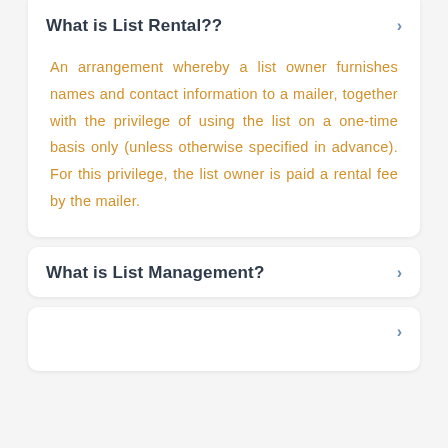What is List Rental??
An arrangement whereby a list owner furnishes names and contact information to a mailer, together with the privilege of using the list on a one-time basis only (unless otherwise specified in advance). For this privilege, the list owner is paid a rental fee by the mailer.
What is List Management?